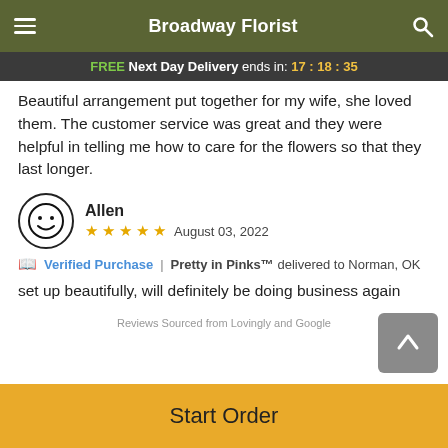Broadway Florist
FREE Next Day Delivery ends in: 17:18:35
Beautiful arrangement put together for my wife, she loved them. The customer service was great and they were helpful in telling me how to care for the flowers so that they last longer.
Allen — August 03, 2022 — ★★★★★
Verified Purchase | Pretty in Pinks™ delivered to Norman, OK
set up beautifully, will definitely be doing business again
Reviews Sourced from Lovingly and Google
Start Order